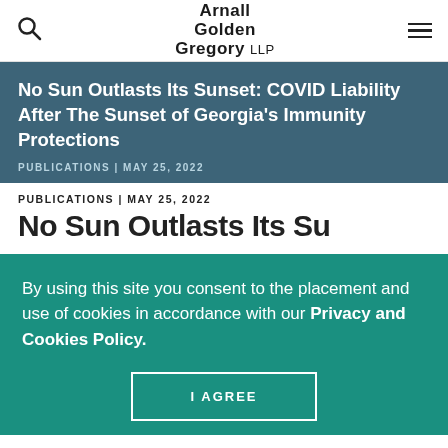Arnall Golden Gregory LLP
No Sun Outlasts Its Sunset: COVID Liability After The Sunset of Georgia's Immunity Protections
PUBLICATIONS | MAY 25, 2022
PUBLICATIONS | MAY 25, 2022
No Sun Outlasts Its Su...
By using this site you consent to the placement and use of cookies in accordance with our Privacy and Cookies Policy.
I AGREE